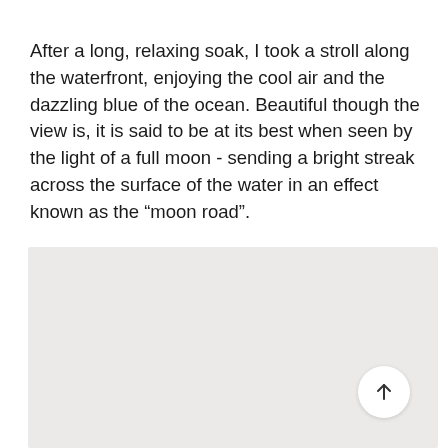After a long, relaxing soak, I took a stroll along the waterfront, enjoying the cool air and the dazzling blue of the ocean. Beautiful though the view is, it is said to be at its best when seen by the light of a full moon - sending a bright streak across the surface of the water in an effect known as the “moon road”.
[Figure (other): A large light gray/beige rectangular area filling the lower portion of the page, with a white circular scroll-to-top button with an upward arrow in the bottom-right corner.]